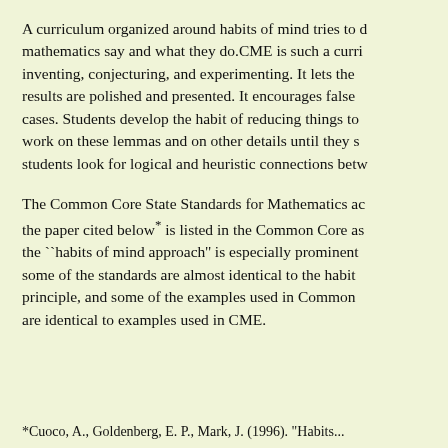A curriculum organized around habits of mind tries to close the gap between what mathematicians say and what they do.CME is such a curriculum. It lets students experience inventing, conjecturing, and experimenting. It lets them experience how mathematical results are polished and presented. It encourages false starts and consideration of special cases. Students develop the habit of reducing things to lemmas and then obsessively work on these lemmas and on other details until they settle them. It also helps students look for logical and heuristic connections between mathematical topics.
The Common Core State Standards for Mathematics adopted the habits of mind approach; the paper cited below* is listed in the Common Core as a major reference. In particular, the ``habits of mind approach'' is especially prominent in the Standards for Mathematical Practice; some of the standards are almost identical to the habits of mind described in this principle, and some of the examples used in Common Core Standards for Mathematical Practice are identical to examples used in CME.
*Cuoco, A., Goldenberg, E. P., Mark, J. (1996). "Habits...